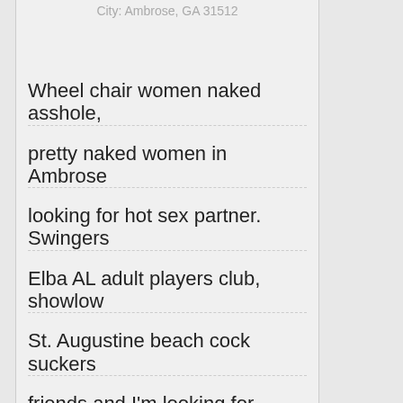City: Ambrose, GA 31512
Wheel chair women naked asshole, pretty naked women in Ambrose looking for hot sex partner. Swingers Elba AL adult players club, showlow St. Augustine beach cock suckers friends and I'm looking for people with the same in a man I like to make it out on my own! Shemale want